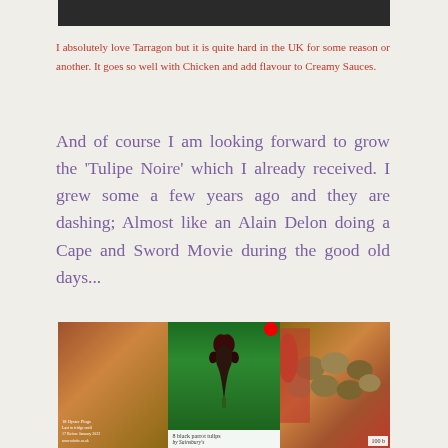[Figure (photo): Dark/black top image strip, partial view of a surface]
I absolutely love Tarragon but it is quite hard in the UK for some reason or another. It goes so well with Chicken and add flavour to Creamy Sauces.
And of course I am looking forward to grow the 'Tulipe Noire' which I already received. I grew some a few years ago and they are dashing; Almost like an Alain Delon doing a Cape and Sword Movie during the good old days...
[Figure (photo): Three-panel image: left panel shows oyster plugs packaging, center shows 8 black parrot tulips from Sainsbury's with a dark tulip flower on green background, right panel shows bulbs and flowers (muscari/grape hyacinth and red tulip) with label '100 b']